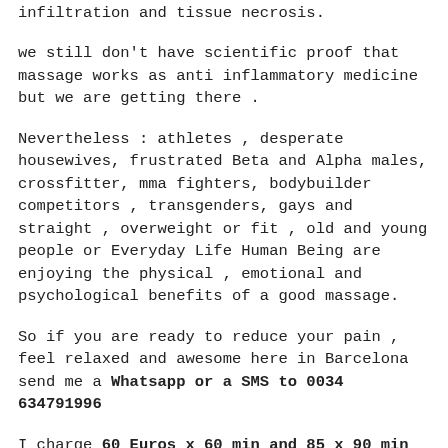infiltration and tissue necrosis.
we still don't have scientific proof that massage works as anti inflammatory medicine but we are getting there .
Nevertheless : athletes , desperate housewives, frustrated Beta and Alpha males, crossfitter, mma fighters, bodybuilder competitors , transgenders, gays and straight , overweight or fit , old and young people or Everyday Life Human Being are enjoying the physical , emotional and psychological benefits of a good massage.
So if you are ready to reduce your pain , feel relaxed and awesome here in Barcelona send me a Whatsapp or a SMS to 0034 634791996
I charge 60 Euros x 60 min and 85 x 90 min